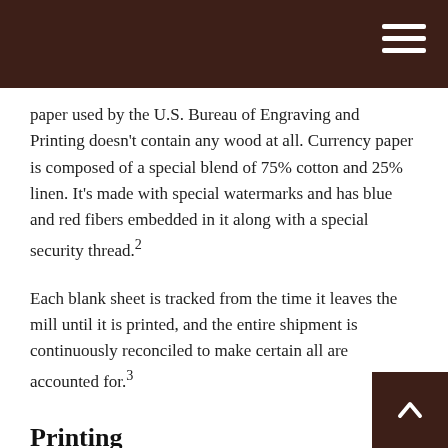paper used by the U.S. Bureau of Engraving and Printing doesn't contain any wood at all. Currency paper is composed of a special blend of 75% cotton and 25% linen. It's made with special watermarks and has blue and red fibers embedded in it along with a special security thread.²
Each blank sheet is tracked from the time it leaves the mill until it is printed, and the entire shipment is continuously reconciled to make certain all are accounted for.³
Printing
These blank sheets of cotton and linen paper get printed four times. Background images and colors are printed—both sides at once—using offset presses that are ov[er] feet long and weigh over 70 tons. After drying for 72[hrs] the portraits, vignettes, scrollwork, numerals, and letters